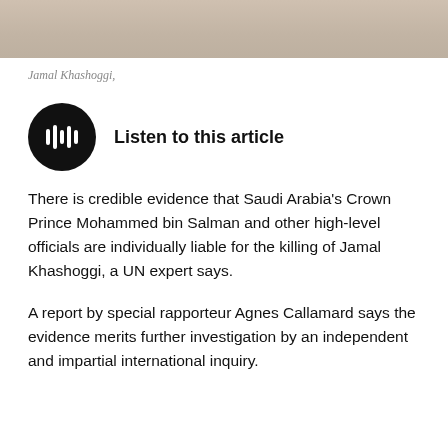[Figure (photo): Partial photo of Jamal Khashoggi, cropped at top of page showing fabric/clothing in beige tones]
Jamal Khashoggi,
[Figure (other): Black circular play button icon for audio article player]
Listen to this article
There is credible evidence that Saudi Arabia's Crown Prince Mohammed bin Salman and other high-level officials are individually liable for the killing of Jamal Khashoggi, a UN expert says.
A report by special rapporteur Agnes Callamard says the evidence merits further investigation by an independent and impartial international inquiry.